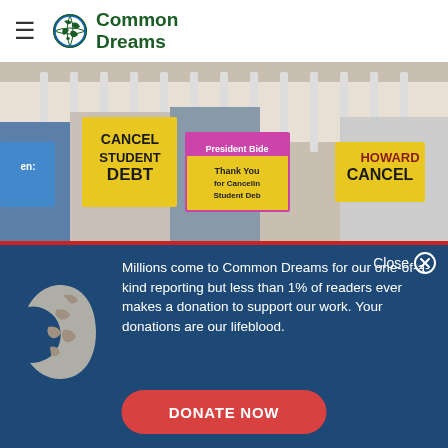Common Dreams
[Figure (photo): Protesters holding signs reading 'Cancel Student Debt', 'President Biden Thank You for Canceling Student Debt', and 'Cancel' with people wearing HOWARD t-shirts]
Close
[Figure (logo): Common Dreams globe illustration in light beige/tan color]
Millions come to Common Dreams for our one-of-a-kind reporting but less than 1% of readers ever makes a donation to support our work. Your donations are our lifeblood.
DONATE NOW